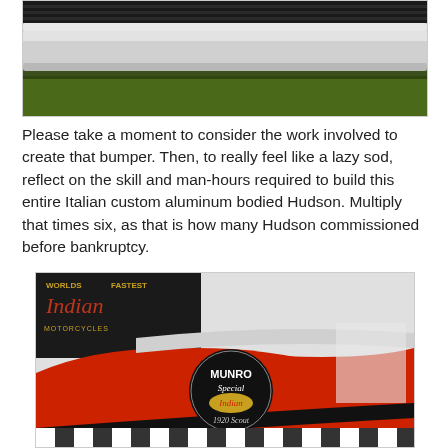[Figure (photo): Close-up photo of a chrome bumper of a car, with green grass visible in the background below the bumper.]
Please take a moment to consider the work involved to create that bumper. Then, to really feel like a lazy sod, reflect on the skill and man-hours required to build this entire Italian custom aluminum bodied Hudson. Multiply that times six, as that is how many Hudson commissioned before bankruptcy.
[Figure (photo): Photo of a red streamlined motorcycle fairing/body with a round black and gold badge reading 'MUNRO Special Indian 1920 Scout'. In the background is a sign reading 'WORLDS FASTEST Indian MOTORCYCLES'. The vehicle sits on a black and white checkered floor.]